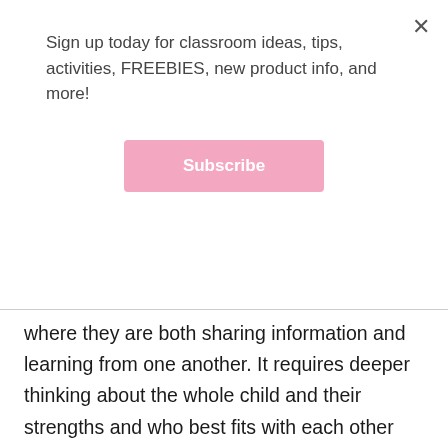Sign up today for classroom ideas, tips, activities, FREEBIES, new product info, and more!
Subscribe
where they are both sharing information and learning from one another. It requires deeper thinking about the whole child and their strengths and who best fits with each other based on their abilities. This may mean that they have a different partner for math than they do for reading or even writing. When I strategically group students, I think about a variety of factors including who they work well with and how their skill levels compare to one another. For example, if they are students who are ready for addition...